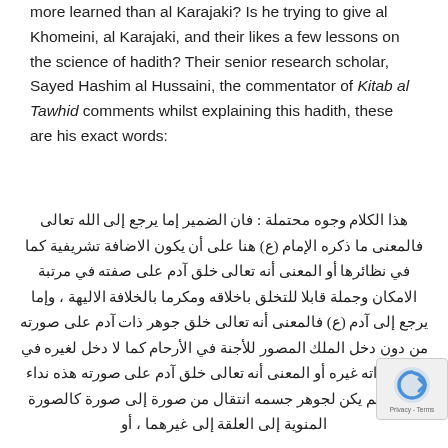more learned than al Karajaki? Is he trying to give al Khomeini, al Karajaki, and their likes a few lessons on the science of hadith? Their senior research scholar, Sayed Hashim al Hussaini, the commentator of Kitab al Tawhid comments whilst explaining this hadith, these are his exact words:
هذا الكلام وجوه محتملة : فان الضمير إما يرجع إلى الله تعالى فالمعنى ما ذكره الإمام (ع) هنا على أن يكون الاضافة تشريفية كما في نظائرها أو المعنى أنه تعالى خلق آدم على صفته في مرتبة الامكان وجملة قابلا للتخلق باخلاقه ومكرما بالخلافة الاليهة ، وإما يرجع إلى آدم (ع) فالمعنى أنه تعالى خلق جوهر ذات آدم على صورته من دون دخل الملك المصور للأجنة في الأرحام كما لا دخل لغيره في تجهيز ذاته غيره أو المعنى أنه تعالى خلق آدم على صورته هذه نداء أمره ولم يكن لجوهر جسمه انتقال من صورة إلى صورة كالصورة المنوية إلى العلقة إلى غيرهما ، أو